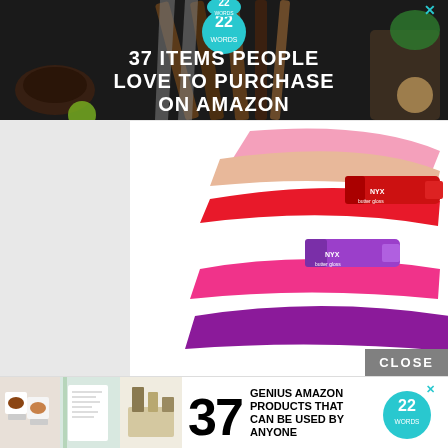[Figure (screenshot): Top banner advertisement showing kitchen items with text '37 ITEMS PEOPLE LOVE TO PURCHASE ON AMAZON' with a teal circle badge showing '22']
[Figure (photo): NYX lip gloss products with colorful swatches in pink, peach, red, and purple on white background]
CLOSE
[Figure (screenshot): Bottom advertisement strip with three thumbnail photos, large number '37', text 'GENIUS AMAZON PRODUCTS THAT CAN BE USED BY ANYONE', and a teal '22 WORDS' badge with an X close button]